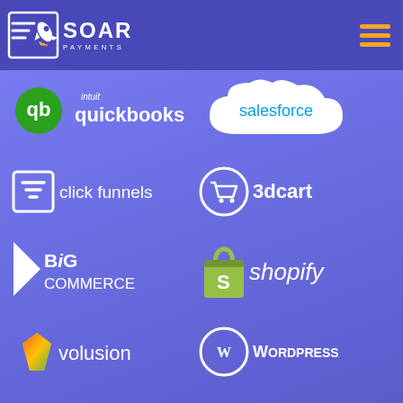[Figure (logo): Soar Payments header logo with navigation hamburger menu]
[Figure (infographic): Grid of partner/integration logos: QuickBooks, Salesforce, ClickFunnels, 3dcart, BigCommerce, Shopify, Volusion, WordPress, WooCommerce, Zoho on a purple/blue gradient background]